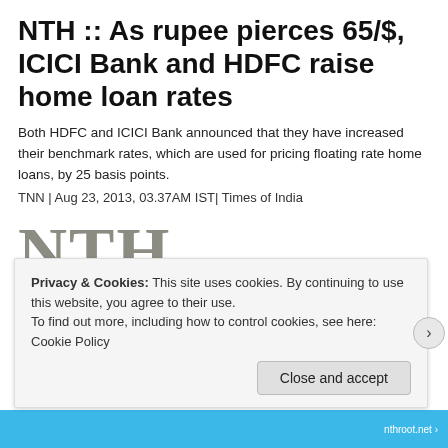NTH :: As rupee pierces 65/$, ICICI Bank and HDFC raise home loan rates
Both HDFC and ICICI Bank announced that they have increased their benchmark rates, which are used for pricing floating rate home loans, by 25 basis points.
TNN | Aug 23, 2013, 03.37AM IST| Times of India
[Figure (logo): NTH logo with large grey serif letters 'NTH' and below a newspaper icon with green text 'News that']
Privacy & Cookies: This site uses cookies. By continuing to use this website, you agree to their use. To find out more, including how to control cookies, see here: Cookie Policy
Close and accept